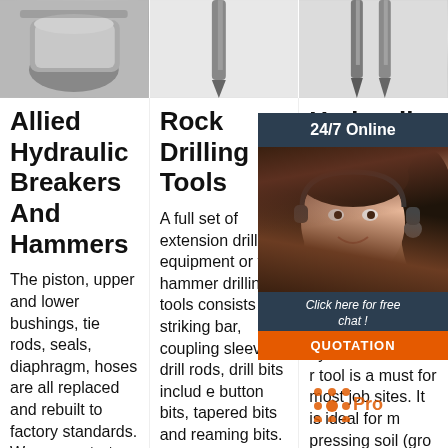[Figure (photo): Black and white photo of a hydraulic tool/mug, top left]
[Figure (photo): Photo of drill bits, top center]
[Figure (photo): Photo of drill bits on white background, top right]
Allied Hydraulic Breakers And Hammers
The piston, upper and lower bushings, tie rods, seals, diaphragm, hoses are all replaced and rebuilt to factory standards. We concentrate on the major manufacturers s
Rock Drilling Tools
A full set of extension drilling equipment or top hammer drilling tools consists of striking bar, coupling sleeves, drill rods, drill bits includ e button bits, tapered bits and reaming bits. ... Pro Drill has been a t
Hydraulic Bre... Tan... Pla... De... Too...
The... LAT... hyd... r tool is a must for most job sites. It is ideal for m pressing soil (ground, gravel etc.)
[Figure (photo): 24/7 online chat widget with woman wearing headset, dark header, click for free chat button, orange QUOTATION button]